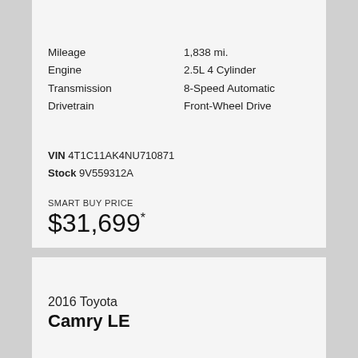Mileage    1,838 mi.
Engine    2.5L 4 Cylinder
Transmission    8-Speed Automatic
Drivetrain    Front-Wheel Drive
VIN 4T1C11AK4NU710871
Stock 9V559312A
SMART BUY PRICE
$31,699*
2016 Toyota Camry LE